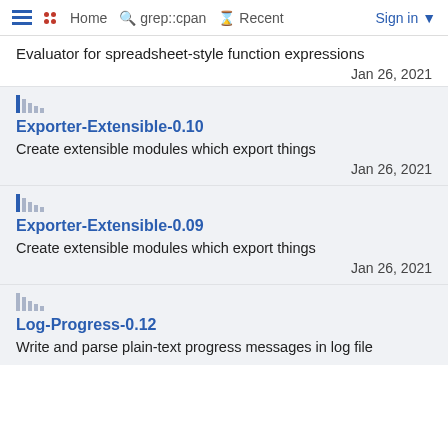Home  grep::cpan  Recent  Sign in
Evaluator for spreadsheet-style function expressions
Jan 26, 2021
Exporter-Extensible-0.10
Create extensible modules which export things
Jan 26, 2021
Exporter-Extensible-0.09
Create extensible modules which export things
Jan 26, 2021
Log-Progress-0.12
Write and parse plain-text progress messages in log file